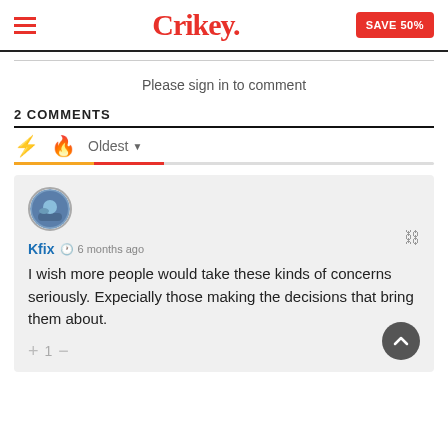Crikey. SAVE 50%
Please sign in to comment
2 COMMENTS
Oldest
Kfix  6 months ago
I wish more people would take these kinds of concerns seriously. Expecially those making the decisions that bring them about.
+1−